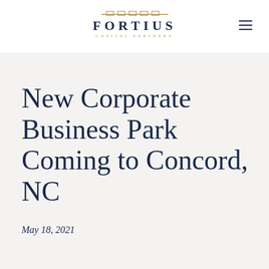[Figure (logo): Fortius Capital Partners logo with gold architectural top bar motif, navy blue FORTIUS lettering, and gold CAPITAL PARTNERS subtitle]
New Corporate Business Park Coming to Concord, NC
May 18, 2021